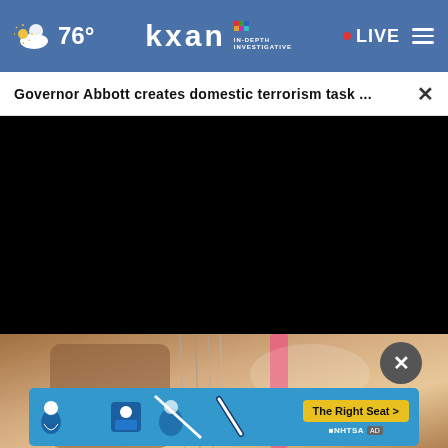76° KXAN IN-DEPTH INVESTIGATIVE • LIVE
Governor Abbott creates domestic terrorism task ... ×
[Figure (screenshot): Black video player area]
[Figure (photo): Close-up photo of cello strings and bow with pink accent]
[Figure (other): NHTSA The Right Seat advertisement banner with car seat safety icons]